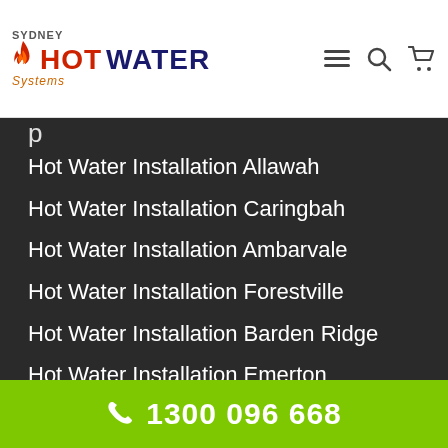Sydney Hot Water Systems
Hot Water Installation Allawah
Hot Water Installation Caringbah
Hot Water Installation Ambarvale
Hot Water Installation Forestville
Hot Water Installation Barden Ridge
Hot Water Installation Emerton
Hot Water Installation Canterbury
Hot Water Installation Barangaroo
Hot Water Installation Emu Plains
Hot Water Installation Freshwater
1300 096 668